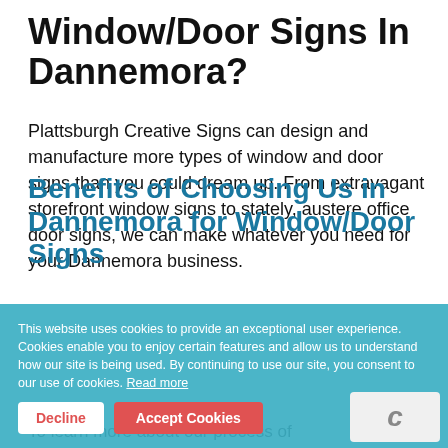Window/Door Signs In Dannemora?
Plattsburgh Creative Signs can design and manufacture more types of window and door signs than you could dream up. From extravagant storefront window signs to stately, austere office door signs, we can make whatever you need for your Dannemora business.
Benefits of Choosing Us in Dannemora for Window/Door Signs
To learn more about our process of
This website uses cookies to provide an exceptional user experience. Cookies enable you to enjoy certain features and allow us to understand how our site is being used. By continuing to use our site, you consent to our use of cookies. Read more
Decline
Accept Cookies